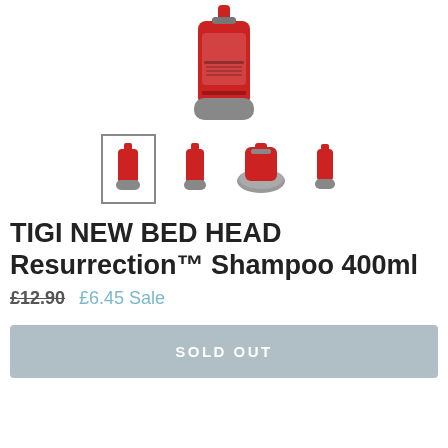[Figure (photo): Main product image: TIGI Bed Head Resurrection Shampoo 400ml red bottle with grey cap, viewed from front-angle top]
[Figure (photo): Thumbnail gallery: 4 product images of the TIGI shampoo bottle from different angles. First is selected (bordered).]
TIGI NEW BED HEAD Resurrection™ Shampoo 400ml
£12.90  £6.45 Sale
SOLD OUT